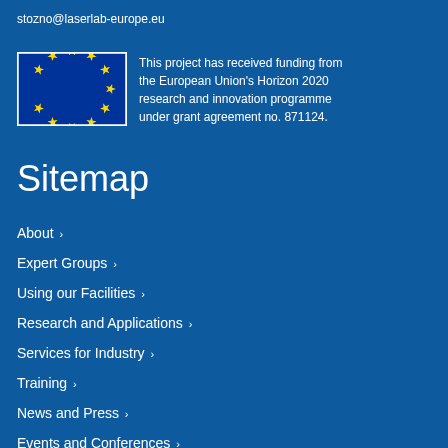stozno@laserlab-europe.eu
This project has received funding from the European Union's Horizon 2020 research and innovation programme under grant agreement no. 871124.
Sitemap
About ›
Expert Groups ›
Using our Facilities ›
Research and Applications ›
Services for Industry ›
Training ›
News and Press ›
Events and Conferences ›
Publications ›
Career ›